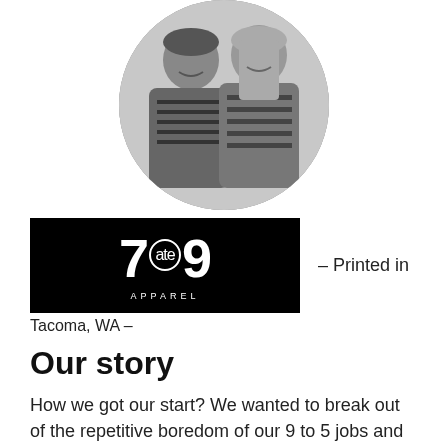[Figure (photo): Black and white circular photo of two women smiling, both wearing striped shirts]
[Figure (logo): 7ate9 Apparel logo: white text on black background, showing '7ate9' with 'ate' in a circle, 'APPAREL' in small caps below]
– Printed in
Tacoma, WA –
Our story
How we got our start? We wanted to break out of the repetitive boredom of our 9 to 5 jobs and channel our